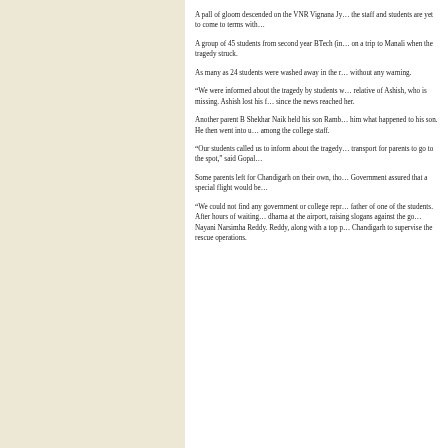A pall of gloom descended on the VNR Vignana Jy… the staff and students are yet to come to terms with…
A group of 45 students from second year BTech (in… on a trip to Manali when the tragedy struck.
As many as 24 students were washed away in the r… without any warning.
“We were informed about the tragedy by students w… relative of Ashish, who is missing. Ashish lost his f… since the news reached her.
Another parent B Shekhar Naik held his son Ramb… him what happened to his son. He then went into u… among the college staff.
“Our students called us to inform about the tragedy… transport for parents to go to the spot,” said Gopal…
Some parents left for Chandigarh on their own, tho… Government assured that a special flight would be…
“We could not find any government or college repr… father of one of the students. After hours of waiting… dharna at the airport, raising slogans against the go… Nayani Narsimha Reddy. Reddy, along with a top p… Chandigarh to supervise the rescue operations.